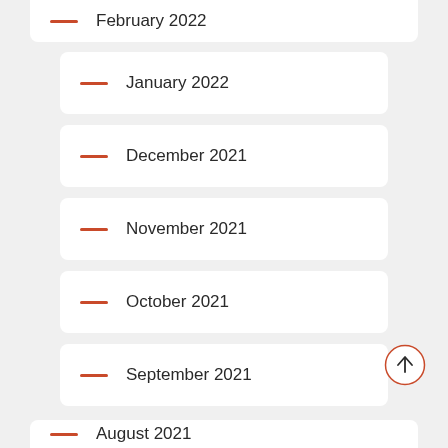February 2022
January 2022
December 2021
November 2021
October 2021
September 2021
August 2021